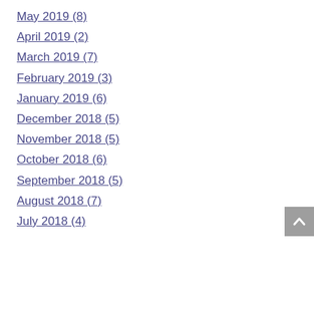May 2019 (8)
April 2019 (2)
March 2019 (7)
February 2019 (3)
January 2019 (6)
December 2018 (5)
November 2018 (5)
October 2018 (6)
September 2018 (5)
August 2018 (7)
July 2018 (4)